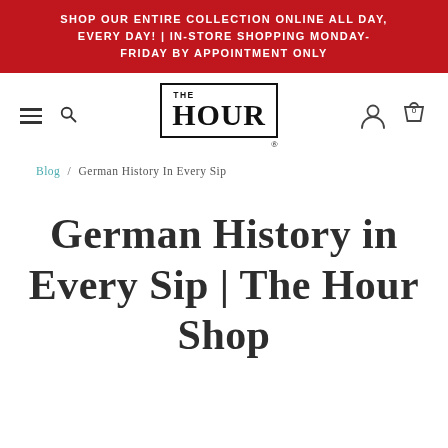SHOP OUR ENTIRE COLLECTION ONLINE ALL DAY, EVERY DAY! | IN-STORE SHOPPING MONDAY-FRIDAY BY APPOINTMENT ONLY
[Figure (logo): The Hour Shop logo — a decorative bordered box containing 'THE' in small caps above 'HOUR' in large bold serif letters with a decorative flourish]
Blog / German History In Every Sip
German History in Every Sip | The Hour Shop